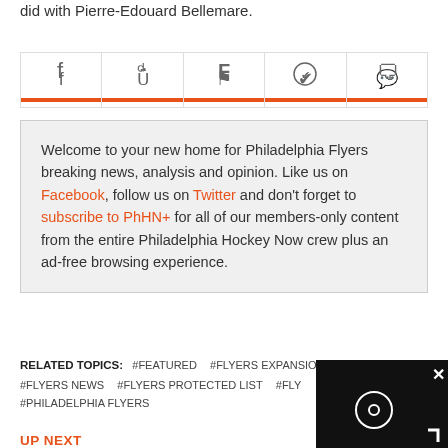did with Pierre-Edouard Bellemare.
[Figure (other): Social share buttons: Facebook, Twitter, Flipboard, WhatsApp, Comment — each with orange bottom bar]
Welcome to your new home for Philadelphia Flyers breaking news, analysis and opinion. Like us on Facebook, follow us on Twitter and don't forget to subscribe to PhHN+ for all of our members-only content from the entire Philadelphia Hockey Now crew plus an ad-free browsing experience.
RELATED TOPICS: #FEATURED  #FLYERS EXPANSION DRAFT  #FLYERS NEWS  #FLYERS PROTECTED LIST  #FLY...  #PHILADELPHIA FLYERS
UP NEXT
[Figure (screenshot): Dark video overlay with close X button, circular loading/play icon, and corner bracket]